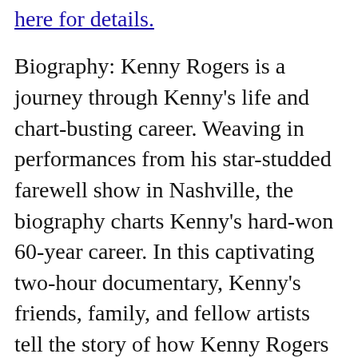here for details.
Biography: Kenny Rogers is a journey through Kenny's life and chart-busting career. Weaving in performances from his star-studded farewell show in Nashville, the biography charts Kenny's hard-won 60-year career. In this captivating two-hour documentary, Kenny's friends, family, and fellow artists tell the story of how Kenny Rogers rose from adversity- battled obscurity – and a pop culture superstar.
From impoverished beginnings to the meteoric rise and crash of The First Edition, to his soul-tested struggle for relevancy. It all culminated in Kenny digging deep, finding his 'ace, and going all-in — transforming into The Gambler, becoming a country music icon, a duet-crooning pop star and a 21 #1 hit